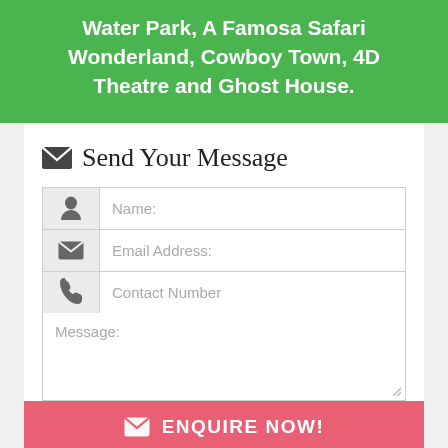Water Park, A Famosa Safari Wonderland, Cowboy Town, 4D Theatre and Ghost House.
Send Your Message
Name:
Email Address:
Contact Number
Message:
ENQUIRE NOW!